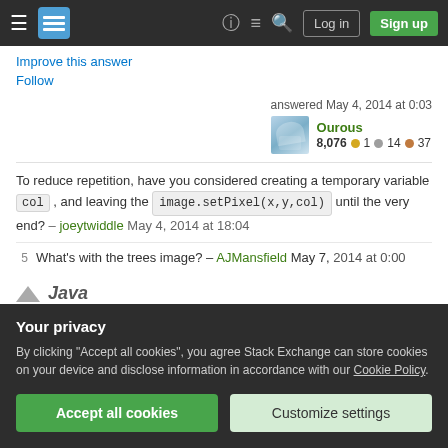Stack Exchange navigation bar with Log in and Sign up buttons
Improve this answer
Follow
answered May 4, 2014 at 0:03
Ourous 8,076 ● 1 ● 14 ● 37
To reduce repetition, have you considered creating a temporary variable col , and leaving the image.setPixel(x,y,col) until the very end? – joeytwiddle May 4, 2014 at 18:04
5 What's with the trees image? – AJMansfield May 7, 2014 at 0:00
Your privacy
By clicking "Accept all cookies", you agree Stack Exchange can store cookies on your device and disclose information in accordance with our Cookie Policy.
Accept all cookies  Customize settings
Java